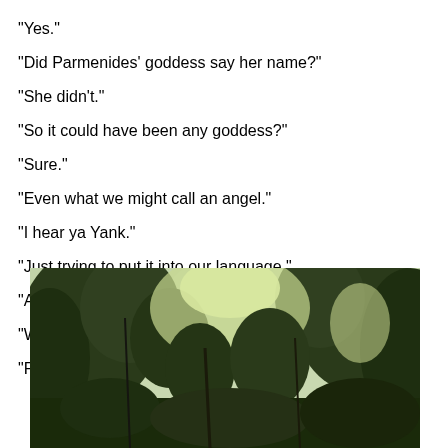“Yes.”
“Did Parmenides’ goddess say her name?”
“She didn’t.”
“So it could have been any goddess?”
“Sure.”
“Even what we might call an angel.”
“I hear ya Yank.”
“Just trying to put it into our language.”
“Agreed.”
“With respect and all Johnny.”
“Reverence.”
[Figure (photo): Outdoor photograph of trees and foliage with bright sky visible through the canopy, taken from a low angle looking upward.]